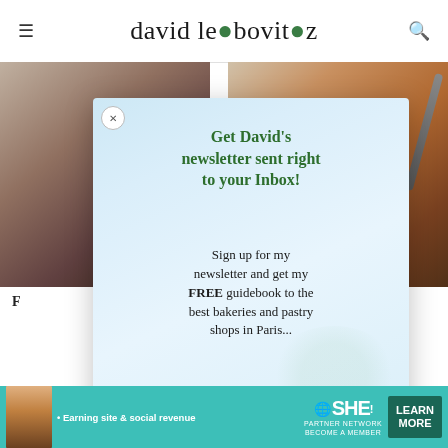david lebovitz
[Figure (photo): Two food/drink photos partially visible behind modal: left shows a dark pan or dish, right shows a drink with ice and a spoon]
F
[Figure (infographic): Newsletter signup modal popup with light blue background. Contains close button (x), headline in green 'Get David's newsletter sent right to your Inbox!', body text 'Sign up for my newsletter and get my FREE guidebook to the best bakeries and pastry shops in Paris...', and a green 'Click HERE' button at the bottom.]
[Figure (photo): Advertisement banner: SHE Partner Network ad with woman avatar, text 'Earning site & social revenue', SHE logo, and 'LEARN MORE' button]